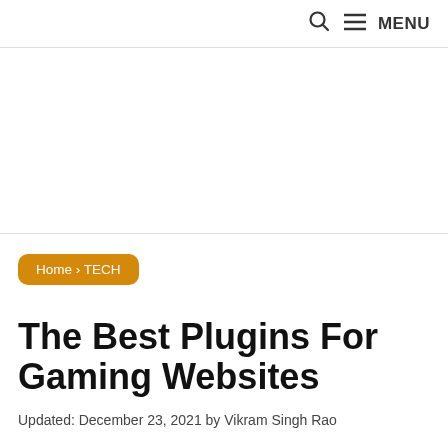🔍 ☰ MENU
[Figure (other): Advertisement banner area, white/empty space]
Home › TECH
The Best Plugins For Gaming Websites
Updated: December 23, 2021 by Vikram Singh Rao